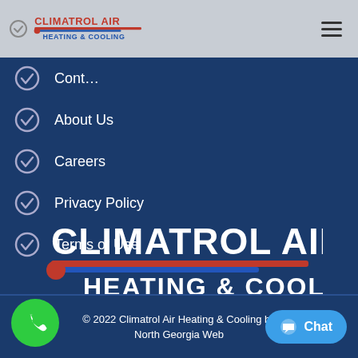[Figure (logo): Climatrol Air Heating & Cooling logo in navigation bar]
Cont…
About Us
Careers
Privacy Policy
Terms of Use
[Figure (logo): Climatrol Air Heating & Cooling large center logo on dark blue background]
© 2022 Climatrol Air Heating & Cooling by North Georgia Web